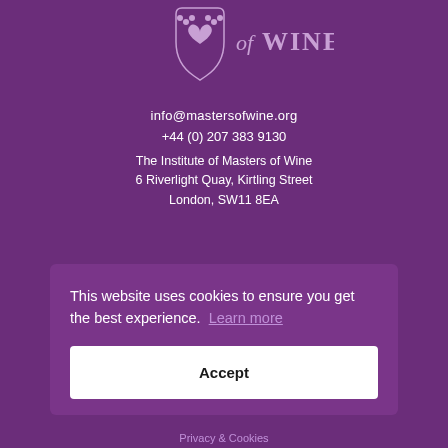[Figure (logo): Institute of Masters of Wine logo — shield with heart and grape cluster above text 'of WINE' in decorative script]
info@mastersofwine.org
+44 (0) 207 383 9130
The Institute of Masters of Wine
6 Riverlight Quay, Kirtling Street
London, SW11 8EA
This website uses cookies to ensure you get the best experience.  Learn more
Accept
Privacy & Cookies